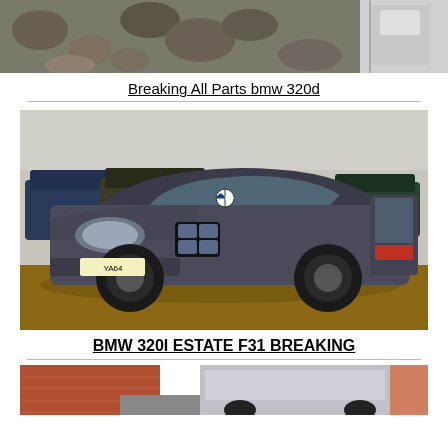[Figure (photo): Top portion of a car parts / rocks photo, partially cropped at top of page]
Breaking All Parts bmw 320d
[Figure (photo): Grey BMW 320i Estate F31 parked in a muddy car yard, with other cars visible in background]
BMW 320I ESTATE F31 BREAKING
[Figure (photo): Bottom portion of another car listing, partially cropped at bottom of page]